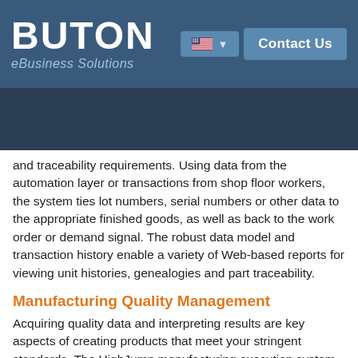BUTON eBusiness Solutions
and traceability requirements. Using data from the automation layer or transactions from shop floor workers, the system ties lot numbers, serial numbers or other data to the appropriate finished goods, as well as back to the work order or demand signal. The robust data model and transaction history enable a variety of Web-based reports for viewing unit histories, genealogies and part traceability.
Manufacturing Quality Management
Acquiring quality data and interpreting results are key aspects of creating products that meet your stringent standards. The HighJump manufacturing execution system (MES) allows quality management to track product quality levels, and if necessary, quickly implement an updated quality plan to further refine the test result data being collected.